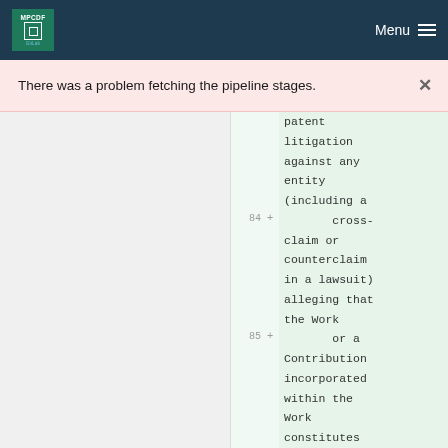MPCDF | Menu
There was a problem fetching the pipeline stages.
patent litigation against any entity (including a cross-claim or counterclaim in a lawsuit) alleging that the Work
or a Contribution incorporated within the Work constitutes
Line 84: + cross-claim or counterclaim in a lawsuit) alleging that the Work
Line 85: + or a Contribution incorporated within the Work constitutes